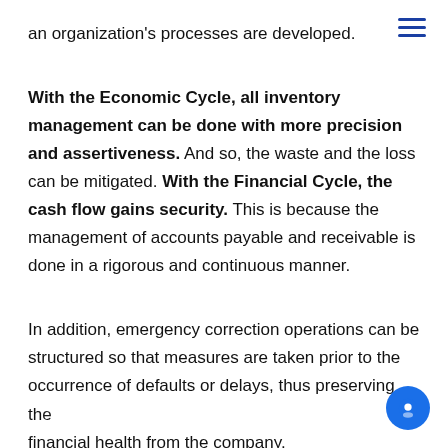≡ (menu icon)
an organization's processes are developed.
With the Economic Cycle, all inventory management can be done with more precision and assertiveness. And so, the waste and the loss can be mitigated. With the Financial Cycle, the cash flow gains security. This is because the management of accounts payable and receivable is done in a rigorous and continuous manner.
In addition, emergency correction operations can be structured so that measures are taken prior to the occurrence of defaults or delays, thus preserving the financial health from the company.